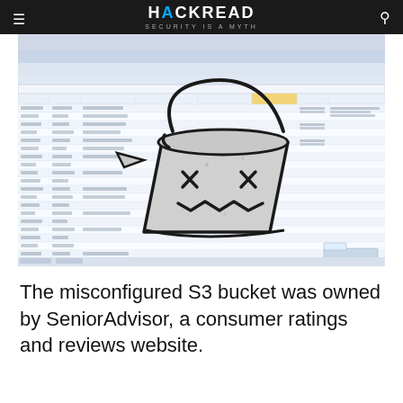HACKREAD SECURITY IS A MYTH
[Figure (screenshot): Screenshot of a Microsoft Excel spreadsheet with many rows of personal data (names, emails, phone numbers, addresses), overlaid with a hand-drawn cartoon of a dead bucket character (eyes as X marks, jagged frown), representing a misconfigured AWS S3 bucket data leak.]
The misconfigured S3 bucket was owned by SeniorAdvisor, a consumer ratings and reviews website.